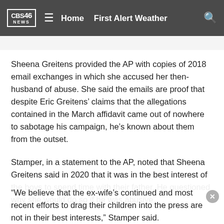CBS 46 NEWS  ≡  Home  First Alert Weather  🔍
Sheena Greitens provided the AP with copies of 2018 email exchanges in which she accused her then-husband of abuse. She said the emails are proof that despite Eric Greitens' claims that the allegations contained in the March affidavit came out of nowhere to sabotage his campaign, he's known about them from the outset.
Stamper, in a statement to the AP, noted that Sheena Greitens said in 2020 that it was in the best interest of the boys to spend time with their father. He questioned why she would do so if he was abusive.
“We believe that the ex-wife’s continued and most recent efforts to drag their children into the press are not in their best interests,” Stamper said.